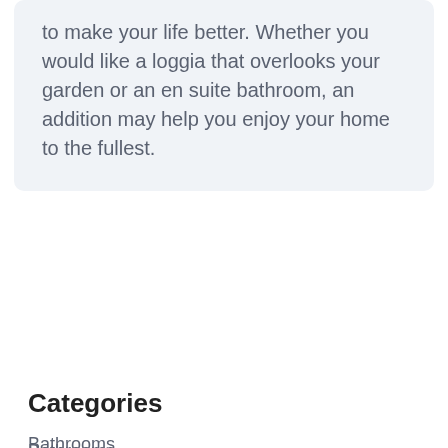to make your life better. Whether you would like a loggia that overlooks your garden or an en suite bathroom, an addition may help you enjoy your home to the fullest.
Categories
Bathrooms
blog
Commercial
Community
Culture
Design
DIY Tips